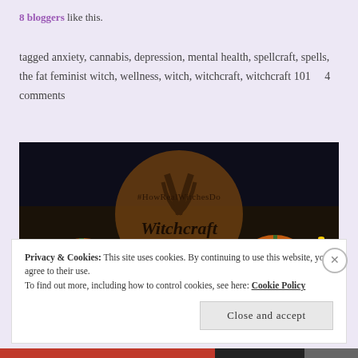8 bloggers like this.
tagged anxiety, cannabis, depression, mental health, spellcraft, spells, the fat feminist witch, wellness, witch, witchcraft, witchcraft 101    4 comments
[Figure (photo): A dark atmospheric Halloween photo showing pumpkins, candles, and hands with a large circular brown overlay containing text '#HowRealWitchesDo Witchcraft' in script lettering]
Privacy & Cookies: This site uses cookies. By continuing to use this website, you agree to their use.
To find out more, including how to control cookies, see here: Cookie Policy
Close and accept